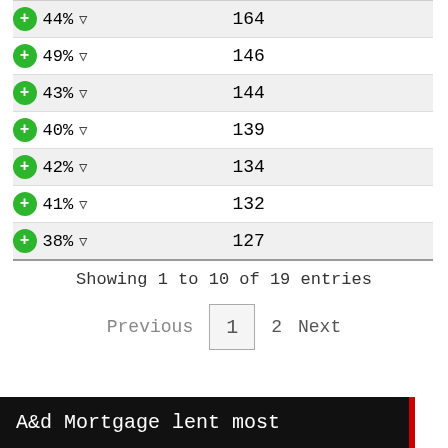| Percent | Count |
| --- | --- |
| + 44% ▽ | 164 |
| + 49% ▽ | 146 |
| + 43% ▽ | 144 |
| + 40% ▽ | 139 |
| + 42% ▽ | 134 |
| + 41% ▽ | 132 |
| + 38% ▽ | 127 |
Showing 1 to 10 of 19 entries
Previous  1  2  Next
A&d Mortgage lent most